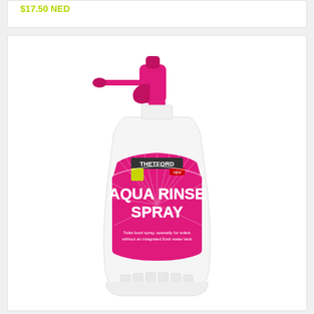$17.50 NED
[Figure (photo): Thetford Aqua Rinse Spray bottle — white plastic trigger spray bottle with pink nozzle and pink label reading 'THETFORD AQUA RINSE SPRAY'. Label includes text: 'Toilet bowl spray, specially for toilets without an integrated flush water tank']